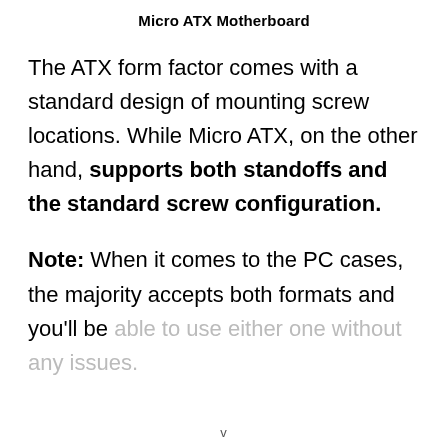Micro ATX Motherboard
The ATX form factor comes with a standard design of mounting screw locations. While Micro ATX, on the other hand, supports both standoffs and the standard screw configuration.
Note: When it comes to the PC cases, the majority accepts both formats and you'll be able to use either one without any issues.
v